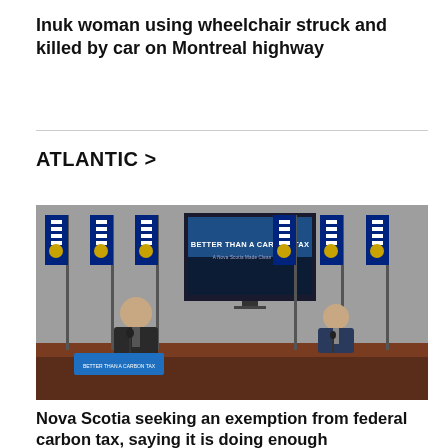Inuk woman using wheelchair struck and killed by car on Montreal highway
ATLANTIC >
[Figure (photo): Press conference with two men in suits seated behind a dark wooden desk, flanked by Nova Scotia flags. A TV screen in the background displays text reading 'BETTER THAN A CARBON TAX'. A small screen on the desk shows the same slide.]
Nova Scotia seeking an exemption from federal carbon tax, saying it is doing enough